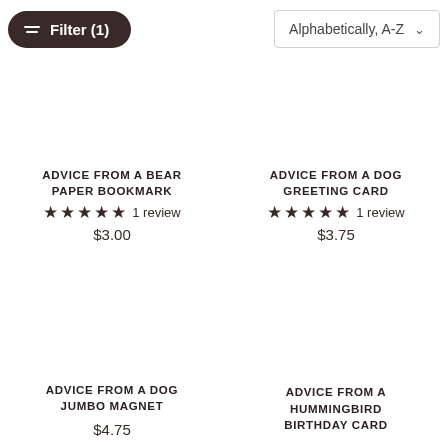Filter (1)
Alphabetically, A-Z
ADVICE FROM A BEAR PAPER BOOKMARK
★★★★★ 1 review
$3.00
ADVICE FROM A DOG GREETING CARD
★★★★★ 1 review
$3.75
ADVICE FROM A DOG JUMBO MAGNET
$4.75
ADVICE FROM A HUMMINGBIRD BIRTHDAY CARD